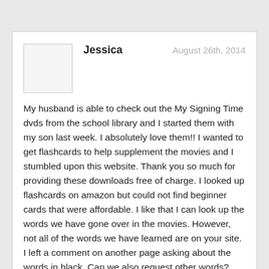Jessica — August 26th, 2014

My husband is able to check out the My Signing Time dvds from the school library and I started them with my son last week. I absolutely love them!! I wanted to get flashcards to help supplement the movies and I stumbled upon this website. Thank you so much for providing these downloads free of charge. I looked up flashcards on amazon but could not find beginner cards that were affordable. I like that I can look up the words we have gone over in the movies. However, not all of the words we have learned are on your site. I left a comment on another page asking about the words in black. Can we also request other words?